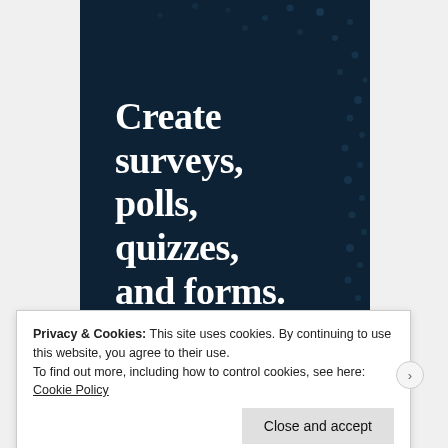[Figure (illustration): Dark navy blue advertisement banner with decorative dot pattern and large white serif text reading 'Create surveys, polls, quizzes, and forms.']
Privacy & Cookies: This site uses cookies. By continuing to use this website, you agree to their use. To find out more, including how to control cookies, see here: Cookie Policy
Close and accept